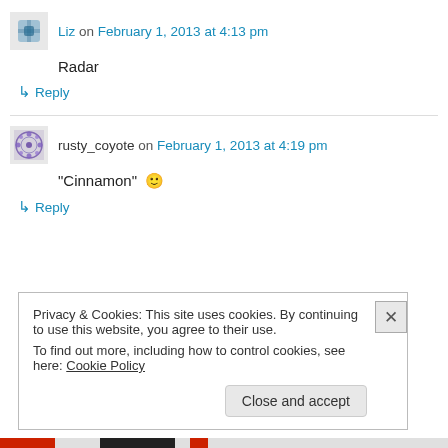Liz on February 1, 2013 at 4:13 pm
Radar
↳ Reply
rusty_coyote on February 1, 2013 at 4:19 pm
“Cinnamon” 🙂
↳ Reply
Privacy & Cookies: This site uses cookies. By continuing to use this website, you agree to their use.
To find out more, including how to control cookies, see here: Cookie Policy
Close and accept